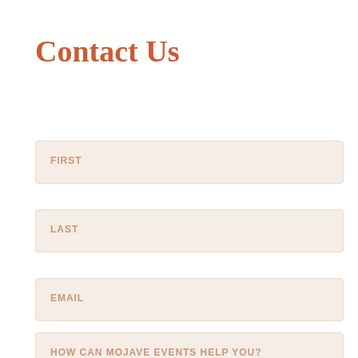Contact Us
FIRST
LAST
EMAIL
HOW CAN MOJAVE EVENTS HELP YOU?